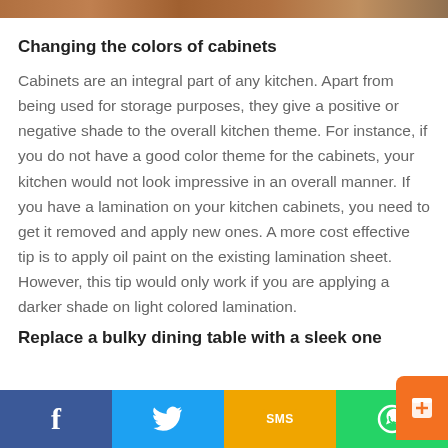[Figure (photo): Partial image strip at top of page showing kitchen/home scene]
Changing the colors of cabinets
Cabinets are an integral part of any kitchen. Apart from being used for storage purposes, they give a positive or negative shade to the overall kitchen theme. For instance, if you do not have a good color theme for the cabinets, your kitchen would not look impressive in an overall manner. If you have a lamination on your kitchen cabinets, you need to get it removed and apply new ones. A more cost effective tip is to apply oil paint on the existing lamination sheet. However, this tip would only work if you are applying a darker shade on light colored lamination.
Replace a bulky dining table with a sleek one
[Figure (other): Social sharing bottom bar with Facebook, Twitter, SMS, WhatsApp icons and orange button]